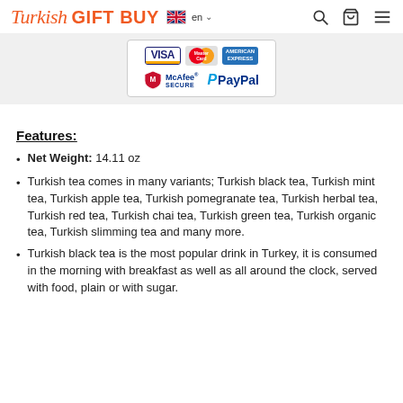Turkish GIFT BUY  en
[Figure (logo): Payment security logos: Visa, MasterCard, American Express, McAfee SECURE, PayPal]
Features:
Net Weight: 14.11 oz
Turkish tea comes in many variants; Turkish black tea, Turkish mint tea, Turkish apple tea, Turkish pomegranate tea, Turkish herbal tea, Turkish red tea, Turkish chai tea, Turkish green tea, Turkish organic tea, Turkish slimming tea and many more.
Turkish black tea is the most popular drink in Turkey, it is consumed in the morning with breakfast as well as all around the clock, served with food, plain or with sugar.